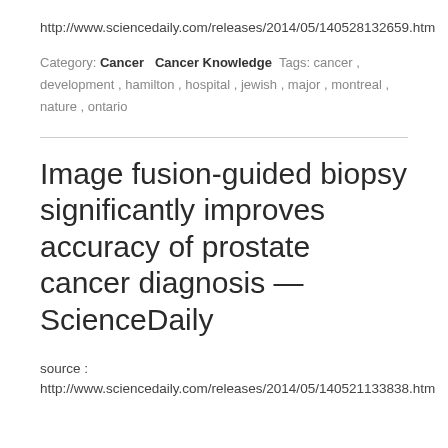http://www.sciencedaily.com/releases/2014/05/140528132659.htm
Category: Cancer  Cancer Knowledge  Tags: cancer, development, hamilton, hospital, jewish, major, montreal, nature, ontario
Image fusion-guided biopsy significantly improves accuracy of prostate cancer diagnosis — ScienceDaily
source : http://www.sciencedaily.com/releases/2014/05/140521133838.htm